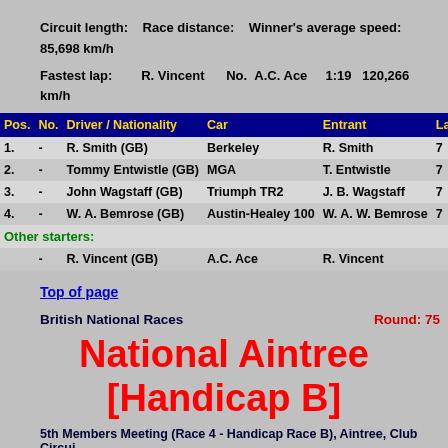Circuit length:    Race distance:    Winner's average speed: 85,698 km/h
Fastest lap:    R. Vincent    No.   A.C. Ace    1:19   120,266 km/h
| Pos. | No. | Driver / Nationality | Car | Entrant | Laps | Time/ |
| --- | --- | --- | --- | --- | --- | --- |
| 1. | - | R. Smith (GB) | Berkeley | R. Smith | 7 | 0:09:1 |
| 2. | - | Tommy Entwistle (GB) | MGA | T. Entwistle | 7 | 0:09:3 |
| 3. | - | John Wagstaff (GB) | Triumph TR2 | J. B. Wagstaff | 7 | 0:10:1 |
| 4. | - | W. A. Bemrose (GB) | Austin-Healey 100 | W. A. W. Bemrose | 7 | 0:10:1 |
|  |  | Other starters: |  |  |  |  |
|  | - | R. Vincent (GB) | A.C. Ace | R. Vincent |  |  |
Top of page
British National Races                                          Round: 75
National Aintree [Handicap B]
5th Members Meeting (Race 4 - Handicap Race B), Aintree, Club Circui